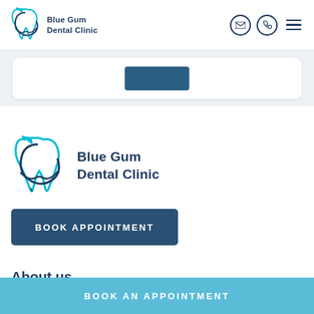[Figure (logo): Blue Gum Dental Clinic logo with cyan tooth/gum illustration and dark blue bold text reading Blue Gum Dental Clinic — appears in navigation header]
[Figure (illustration): Navigation icons: email envelope icon in circle, phone handset icon in circle, hamburger menu lines — dark navy on white]
[Figure (other): White card with a dark blue/teal button partially visible at center]
[Figure (logo): Blue Gum Dental Clinic logo — larger version in main content area, cyan tooth/gum illustration left of bold dark blue text Blue Gum Dental Clinic]
BOOK APPOINTMENT
About us
BOOK AN APPOINTMENT